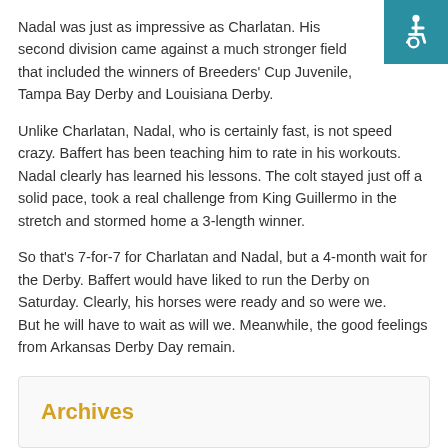[Figure (illustration): Accessibility icon (wheelchair symbol) in a teal/blue square in the top-right corner]
Nadal was just as impressive as Charlatan. His second division came against a much stronger field that included the winners of Breeders' Cup Juvenile, Tampa Bay Derby and Louisiana Derby.
Unlike Charlatan, Nadal, who is certainly fast, is not speed crazy. Baffert has been teaching him to rate in his workouts. Nadal clearly has learned his lessons. The colt stayed just off a solid pace, took a real challenge from King Guillermo in the stretch and stormed home a 3-length winner.
So that's 7-for-7 for Charlatan and Nadal, but a 4-month wait for the Derby. Baffert would have liked to run the Derby on Saturday. Clearly, his horses were ready and so were we.
But he will have to wait as will we. Meanwhile, the good feelings from Arkansas Derby Day remain.
Category: All, Dick Jerardi
Archives